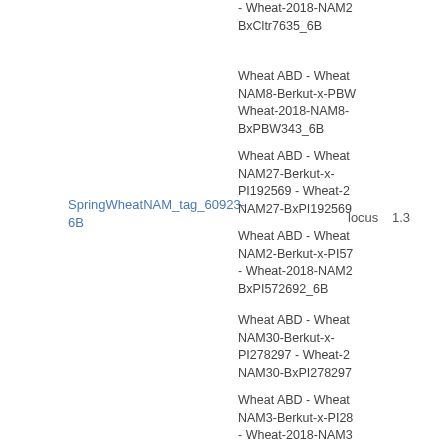SpringWheatNAM_tag_60923-6B
locus   1.3
- Wheat-2018-NAM2BxCltr7635_6B
Wheat ABD - Wheat NAM8-Berkut-x-PBW343 - Wheat-2018-NAM8-BxPBW343_6B
Wheat ABD - Wheat NAM27-Berkut-x-PI192569 - Wheat-2018-NAM27-BxPI192569
Wheat ABD - Wheat NAM2-Berkut-x-PI572692 - Wheat-2018-NAM2-BxPI572692_6B
Wheat ABD - Wheat NAM30-Berkut-x-PI278297 - Wheat-2018-NAM30-BxPI278297
Wheat ABD - Wheat NAM3-Berkut-x-PI283147 - Wheat-2018-NAM3-BxPI283147_6B
Wheat ABD - Wheat NAM29-Berkut-x-PI220431 - Wheat-2018-NAM29-BxPI220431